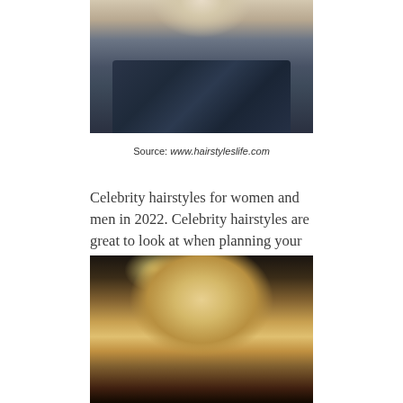[Figure (photo): Top portion of a woman with blonde hair wearing a dark blue patterned dress with geometric/tribal print, cropped at the shoulders]
Source: www.hairstyleslife.com
Celebrity hairstyles for women and men in 2022. Celebrity hairstyles are great to look at when planning your next hairstyle.
[Figure (photo): Woman with blonde shoulder-length hair with bangs, photographed against a dark background with warm lighting]